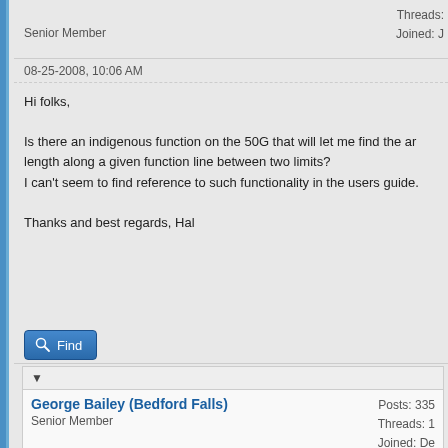Senior Member
Threads:
Joined: J
08-25-2008, 10:06 AM
Hi folks,

Is there an indigenous function on the 50G that will let me find the arc length along a given function line between two limits?
I can't seem to find reference to such functionality in the users guide.

Thanks and best regards, Hal
Find
▼
George Bailey (Bedford Falls)
Senior Member
Posts: 335
Threads: 1
Joined: De
08-25-2008, 10:54 AM
>>>CLICK<<<